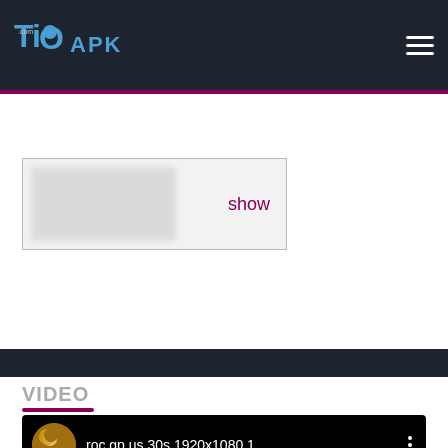TiOAPK.com — site header with logo and hamburger menu
[Figure (screenshot): Advertisement placeholder box with blurred content and 'show' link in magenta text]
VIDEO
[Figure (screenshot): Video player showing 'roc gp us 30s 1920x1080 1' with user avatar thumbnail, three-dot menu, and dark background. A magenta scroll-to-top button is in the bottom right corner.]